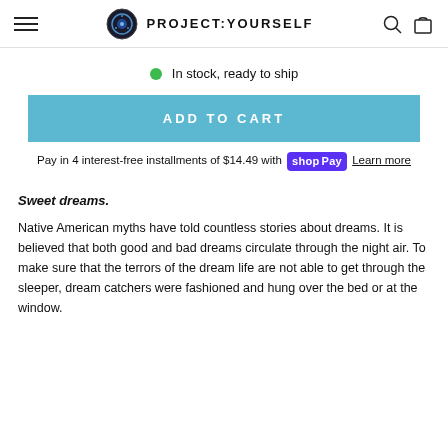PROJECT:YOURSELF
In stock, ready to ship
ADD TO CART
Pay in 4 interest-free installments of $14.49 with shopPay Learn more
Sweet dreams.
Native American myths have told countless stories about dreams. It is believed that both good and bad dreams circulate through the night air. To make sure that the terrors of the dream life are not able to get through the sleeper, dream catchers were fashioned and hung over the bed or at the window.